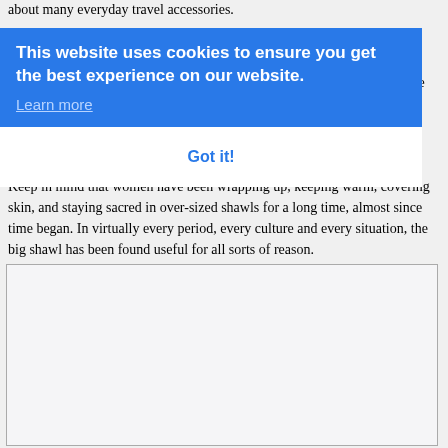about many everyday travel accessories.
From that first trip in 1970 until today, I have never traveled without some version of the trusty Big Shawl. And I doubt I ever will.
This website uses cookies to ensure you get the best experience on our website.
Learn more
Got it!
Keep in mind that women have been wrapping up, keeping warm, covering skin, and staying sacred in over-sized shawls for a long time, almost since time began. In virtually every period, every culture and every situation, the big shawl has been found useful for all sorts of reason.
[Figure (other): Empty image placeholder box with light gray background and gray border]